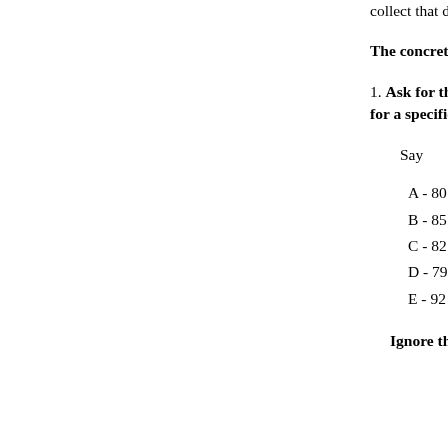collect that data from schools.
The concrete steps are:
1. Ask for the preboard score for a specific subject:
Say
A - 80
B - 85
C - 82
D - 79
E - 92
Ignore the scores but